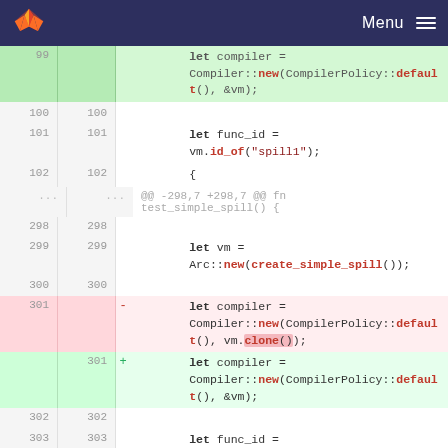GitLab - Menu
[Figure (screenshot): Code diff view showing Rust source lines 99-303, with a deletion on line 301 (vm.clone()) replaced by an addition (&vm)]
99  let compiler = Compiler::new(CompilerPolicy::default(), &vm);
100 100
101 101     let func_id = vm.id_of("spill1");
102 102     {
...  ...  @@ -298,7 +298,7 @@ fn test_simple_spill() {
298 298
299 299     let vm = Arc::new(create_simple_spill());
300 300
301 -   let compiler = Compiler::new(CompilerPolicy::default(), vm.clone());
301 +   let compiler = Compiler::new(CompilerPolicy::default(), &vm);
302 302
303 303     let func_id =